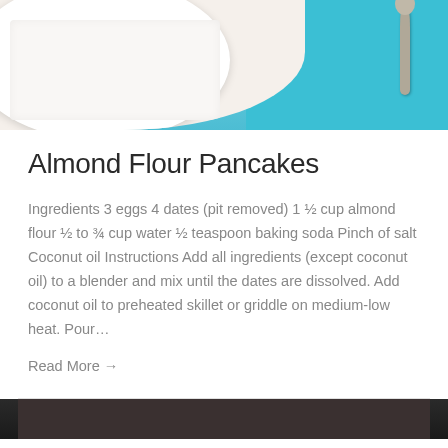[Figure (photo): Photo of pancakes on a white plate with a napkin, on a teal/turquoise wooden surface, with a spoon visible in the background]
Almond Flour Pancakes
Ingredients 3 eggs 4 dates (pit removed) 1 ½ cup almond flour ½ to ¾ cup water ½ teaspoon baking soda Pinch of salt Coconut oil Instructions Add all ingredients (except coconut oil) to a blender and mix until the dates are dissolved. Add coconut oil to preheated skillet or griddle on medium-low heat. Pour…
Read More →
[Figure (photo): Partial photo visible at bottom of page, dark tones]